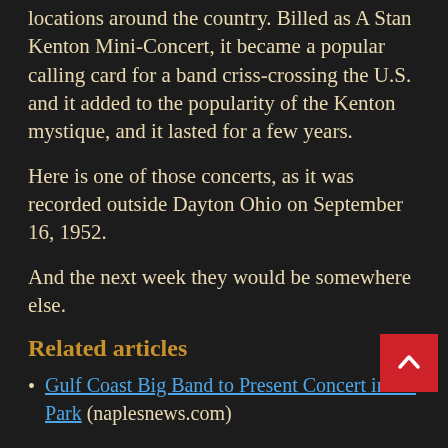locations around the country. Billed as A Stan Kenton Mini-Concert, it became a popular calling card for a band criss-crossing the U.S. and it added to the popularity of the Kenton mystique, and it lasted for a few years.
Here is one of those concerts, as it was recorded outside Dayton Ohio on September 16, 1952.
And the next week they would be somewhere else.
Related articles
Gulf Coast Big Band to Present Concert in the Park (naplesnews.com)
Liked it? Take a second to